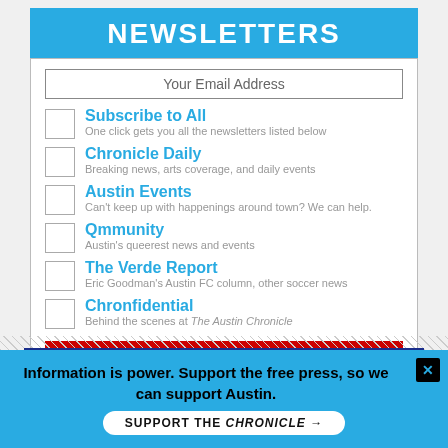NEWSLETTERS
Your Email Address
Subscribe to All
One click gets you all the newsletters listed below
Chronicle Daily
Breaking news, arts coverage, and daily events
Austin Events
Can't keep up with happenings around town? We can help.
Qmmunity
Austin's queerest news and events
The Verde Report
Eric Goodman's Austin FC column, other soccer news
Chronfidential
Behind the scenes at The Austin Chronicle
SUBSCRIBE
[Figure (advertisement): Kessler Presents Austin - COMING SOON - 9/15 JOHN MORELAND WITH LEE BAINS]
Information is power. Support the free press, so we can support Austin.
SUPPORT THE CHRONICLE →